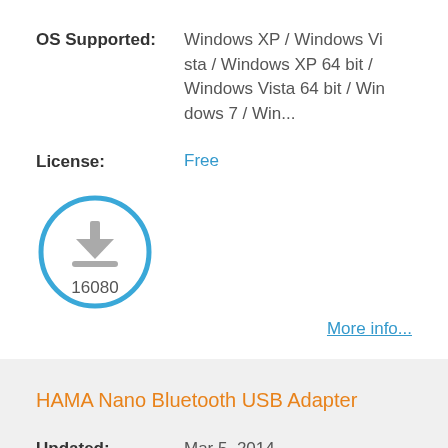OS Supported: Windows XP / Windows Vista / Windows XP 64 bit / Windows Vista 64 bit / Windows 7 / Win...
License: Free
[Figure (infographic): Download count badge: circle with download arrow icon and number 16080]
More info...
HAMA Nano Bluetooth USB Adapter
Updated: Mar 5, 2014
OS Supported: Windows XP / Windows Vi